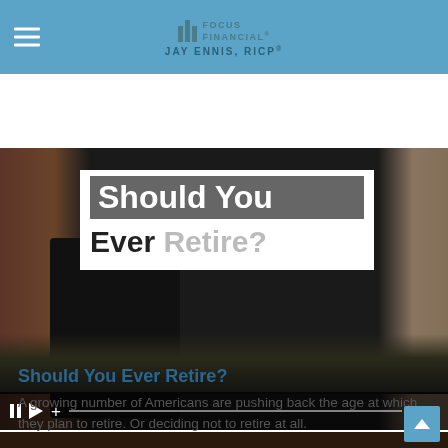Focus Financial — JAY ENNIS, RICP®
[Figure (screenshot): Video thumbnail showing the text 'Should You Ever Retire?' overlaid on a dark background with video playback controls showing 1:17 timestamp]
Should You Ever Retire?
A growing number of Americans are pushing back the age at which they plan to retire. Or deciding not to retire at all.